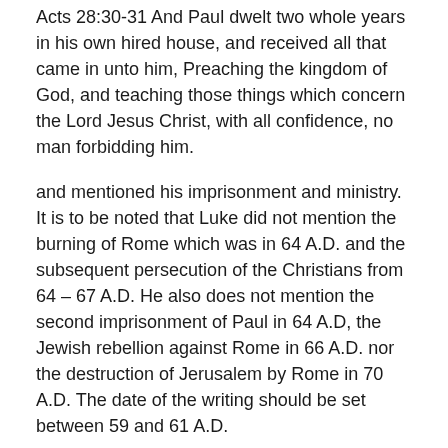Acts 28:30-31 And Paul dwelt two whole years in his own hired house, and received all that came in unto him, Preaching the kingdom of God, and teaching those things which concern the Lord Jesus Christ, with all confidence, no man forbidding him.
and mentioned his imprisonment and ministry. It is to be noted that Luke did not mention the burning of Rome which was in 64 A.D. and the subsequent persecution of the Christians from 64 – 67 A.D. He also does not mention the second imprisonment of Paul in 64 A.D, the Jewish rebellion against Rome in 66 A.D. nor the destruction of Jerusalem by Rome in 70 A.D. The date of the writing should be set between 59 and 61 A.D.
III. The Purpose of the book.
The book was written to complete the treatise Luke was